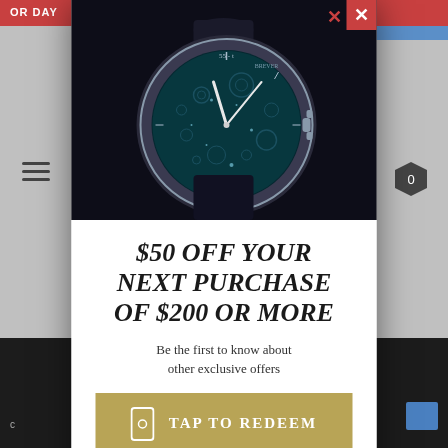[Figure (screenshot): Background of a retail website showing hamburger menu, bag item priced at $518, ADD TO... button, cart icon, heart icon, and dark cookie consent bar. A luxury watch advertisement popup is overlaid.]
[Figure (photo): Luxury wristwatch with a teal/blue starry dial face, silver case, and dark leather strap on a dark background]
$50 OFF YOUR NEXT PURCHASE OF $200 OR MORE
Be the first to know about other exclusive offers
TAP TO REDEEM
By joining via text messages, you agree to receive recurring marketing messages (e.g. cart abandon) from True Face at the mobile number used to send the join text message. Msg & data rates may apply. Msg frequency varies. Consent is not a